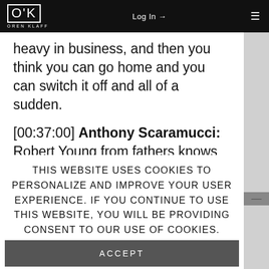OK OREN KLAFF | Log In → | ≡
heavy in business, and then you think you can go home and you can switch it off and all of a sudden.
[00:37:00] Anthony Scaramucci: Robert Young from fathers knows best or leave it to
THIS WEBSITE USES COOKIES TO PERSONALIZE AND IMPROVE YOUR USER EXPERIENCE. IF YOU CONTINUE TO USE THIS WEBSITE, YOU WILL BE PROVIDING CONSENT TO OUR USE OF COOKIES.
ACCEPT